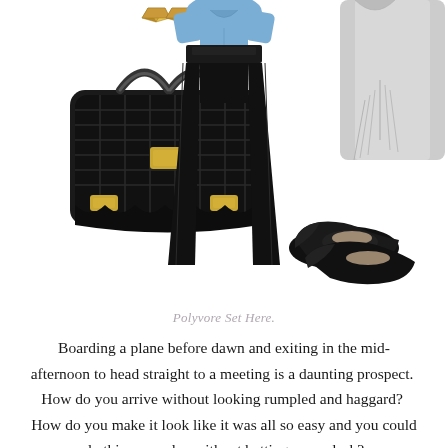[Figure (illustration): Fashion collage showing a black handbag (bottom left), gold pyramid studs (top left), black wide-leg trousers (center), a blue shirt (top center), a grey jacket/cardigan (top right), black ballet flats (bottom right)]
Polyvore Set Here.
Boarding a plane before dawn and exiting in the mid-afternoon to head straight to a meeting is a daunting prospect.  How do you arrive without looking rumpled and haggard?  How do you make it look like it was all so easy and you could do this every day without batting an eyelash?